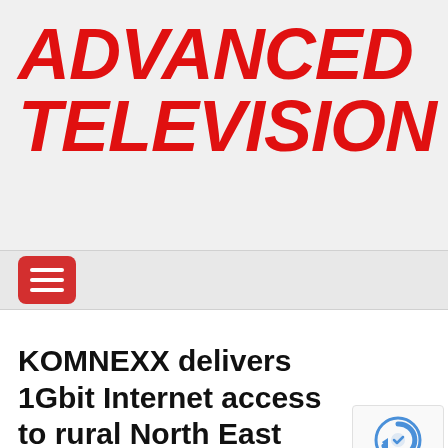ADVANCED TELEVISION
[Figure (other): Hamburger menu button — red rounded rectangle with three white horizontal lines]
KOMNEXX delivers 1Gbit Internet access to rural North East Germany with
[Figure (other): Google reCAPTCHA badge with privacy and terms text]